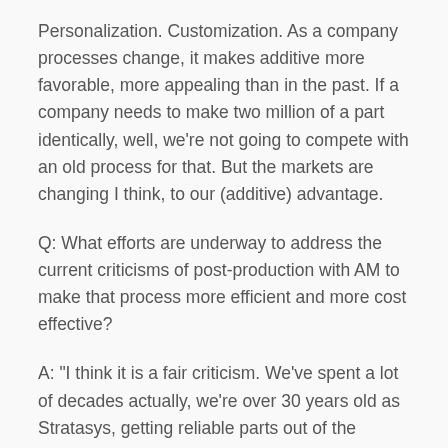Personalization. Customization. As a company processes change, it makes additive more favorable, more appealing than in the past. If a company needs to make two million of a part identically, well, we're not going to compete with an old process for that. But the markets are changing I think, to our (additive) advantage.
Q: What efforts are underway to address the current criticisms of post-production with AM to make that process more efficient and more cost effective?
A: "I think it is a fair criticism. We've spent a lot of decades actually, we're over 30 years old as Stratasys, getting reliable parts out of the printer. And when it was just prototypes, we mostly did sanding and some painting. There was not a lot of